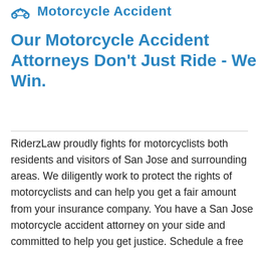Motorcycle Accident
Our Motorcycle Accident Attorneys Don't Just Ride - We Win.
RiderzLaw proudly fights for motorcyclists both residents and visitors of San Jose and surrounding areas. We diligently work to protect the rights of motorcyclists and can help you get a fair amount from your insurance company. You have a San Jose motorcycle accident attorney on your side and committed to help you get justice. Schedule a free